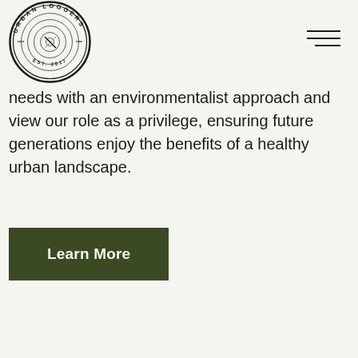[Figure (logo): Urban Loggers circular logo with tree rings design and text 'URBAN LOGGERS EST. 2017']
needs with an environmentalist approach and view our role as a privilege, ensuring future generations enjoy the benefits of a healthy urban landscape.
Learn More